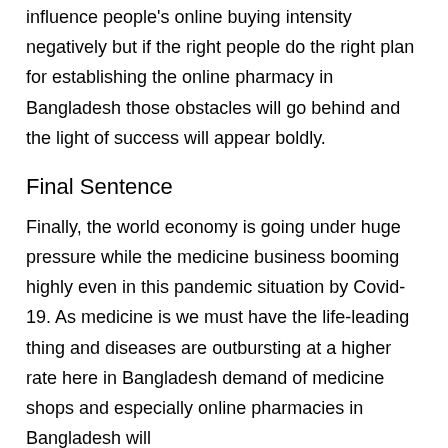influence people's online buying intensity negatively but if the right people do the right plan for establishing the online pharmacy in Bangladesh those obstacles will go behind and the light of success will appear boldly.
Final Sentence
Finally, the world economy is going under huge pressure while the medicine business booming highly even in this pandemic situation by Covid-19. As medicine is we must have the life-leading thing and diseases are outbursting at a higher rate here in Bangladesh demand of medicine shops and especially online pharmacies in Bangladesh will